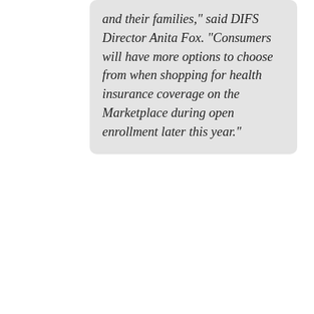and their families," said DIFS Director Anita Fox. "Consumers will have more options to choose from when shopping for health insurance coverage on the Marketplace during open enrollment later this year."
Read more  Charles Gaba's blog  0 Comments
Michigan
COVID19
Medicaid
Medicaid Expansion
@CoveredCA: New Data Shows How #AmRescuePlan Is Driving